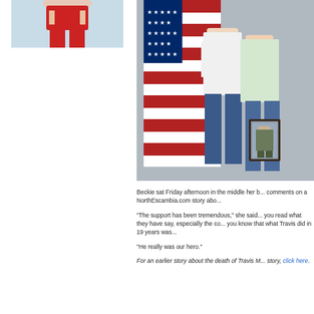[Figure (photo): Person in red dress/shirt against light blue background, left column photo cropped at top]
[Figure (photo): Two people standing in front of an American flag; one holding a framed portrait photo of a soldier]
Beckie sat Friday afternoon in the middle her b... comments on a NorthEscambia.com story abo...
“The support has been tremendous,” she said... you read what they have say, especially the co... you know that what Travis did in 19 years was...
“He really was our hero.”
For an earlier story about the death of Travis M... story, click here.